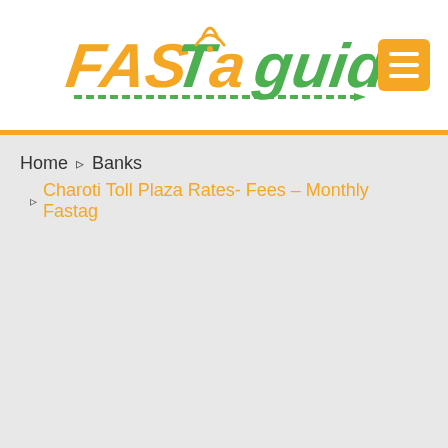[Figure (logo): FASTag Guide logo with orange and green text, stylized lettering, wifi signal icon]
Home ▹ Banks ▹ Charoti Toll Plaza Rates- Fees – Monthly Fastag